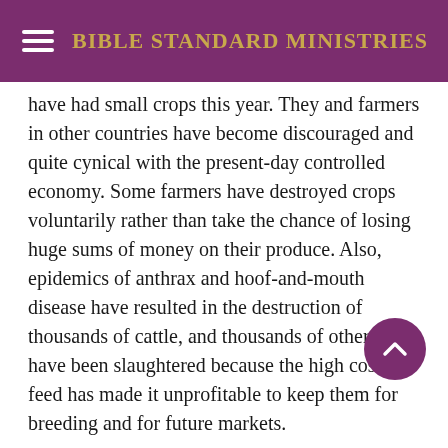BIBLE STANDARD MINISTRIES
have had small crops this year. They and farmers in other countries have become discouraged and quite cynical with the present-day controlled economy. Some farmers have destroyed crops voluntarily rather than take the chance of losing huge sums of money on their produce. Also, epidemics of anthrax and hoof-and-mouth disease have resulted in the destruction of thousands of cattle, and thousands of others have been slaughtered because the high cost of feed has made it unprofitable to keep them for breeding and for future markets.
Famine is more and more becoming a worldwide problem. According to Nobel laureate Norman E. Borlaug, the year 1975 may be remembered as “the first